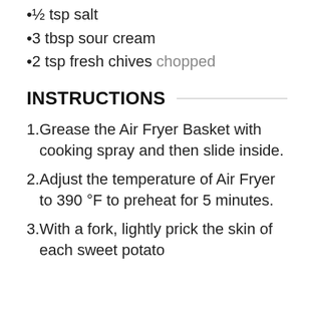½ tsp salt
3 tbsp sour cream
2 tsp fresh chives chopped
INSTRUCTIONS
Grease the Air Fryer Basket with cooking spray and then slide inside.
Adjust the temperature of Air Fryer to 390 °F to preheat for 5 minutes.
With a fork, lightly prick the skin of each sweet potato